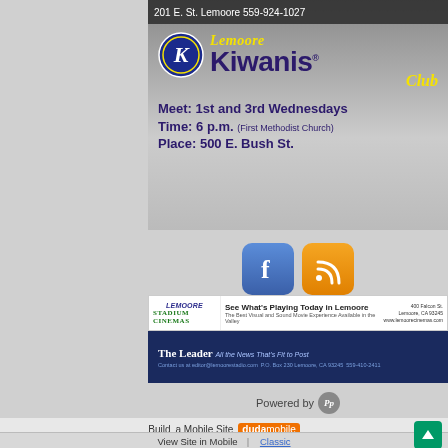201 E. St. Lemoore 559-924-1027
[Figure (advertisement): Lemoore Kiwanis Club advertisement. Meet: 1st and 3rd Wednesdays. Time: 6 p.m. (First Methodist Church). Place: 500 E. Bush St. Features Kiwanis International logo.]
[Figure (infographic): Facebook and RSS feed social media icons]
[Figure (advertisement): Lemoore Stadium Cinemas ad: See What's Playing Today in Lemoore. 400 Falcon St., Lemoore, CA 93245. www.lemoorecinemeas.com]
[Figure (advertisement): The Leader - All the News That's Fit to Post. Contact us at editor@lemoorestadio.com P.O. Box 230 Lemoore, CA 93245 559-410-2411]
Powered by Pp
Build a Mobile Site duda mobile
View Site in Mobile | Classic